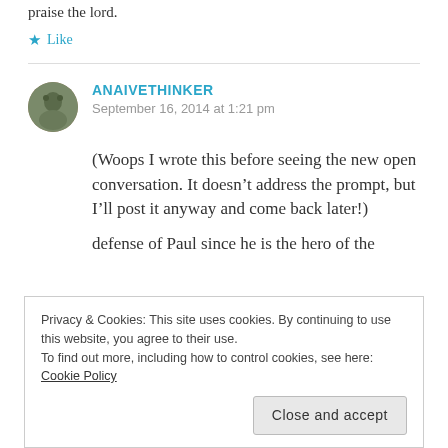praise the lord.
Like
ANAIVETHINKER
September 16, 2014 at 1:21 pm
(Woops I wrote this before seeing the new open conversation. It doesn’t address the prompt, but I’ll post it anyway and come back later!)
Privacy & Cookies: This site uses cookies. By continuing to use this website, you agree to their use.
To find out more, including how to control cookies, see here: Cookie Policy
Close and accept
defense of Paul since he is the hero of the